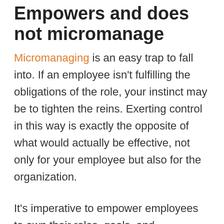Empowers and does not micromanage
Micromanaging is an easy trap to fall into. If an employee isn't fulfilling the obligations of the role, your instinct may be to tighten the reins. Exerting control in this way is exactly the opposite of what would actually be effective, not only for your employee but also for the organization.
It's imperative to empower employees to own their roles, goals, and deliverables. Allow them to do the work, succeeding (or potentially failing) by setting out your vision and expectations without step-by-step directions. Micro-managing hurts your capacity provide